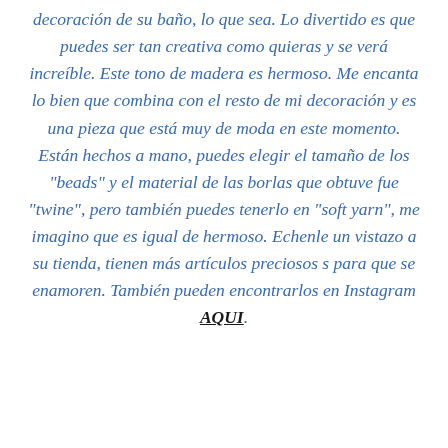decoración de su baño, lo que sea. Lo divertido es que puedes ser tan creativa como quieras y se verá increíble. Este tono de madera es hermoso. Me encanta lo bien que combina con el resto de mi decoración y es una pieza que está muy de moda en este momento. Están hechos a mano, puedes elegir el tamaño de los "beads" y el material de las borlas que obtuve fue "twine", pero también puedes tenerlo en "soft yarn", me imagino que es igual de hermoso. Echenle un vistazo a su tienda, tienen más artículos preciosos s para que se enamoren. También pueden encontrarlos en Instagram AQUI.